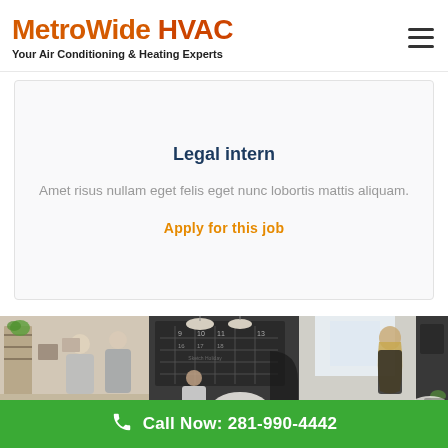MetroWide HVAC — Your Air Conditioning & Heating Experts
Legal intern
Amet risus nullam eget felis eget nunc lobortis mattis aliquam.
Apply for this job
[Figure (photo): Three-panel office/workplace photo strip showing blurred people working in office environments]
Call Now: 281-990-4442